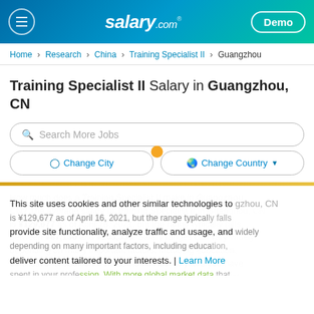salary.com — Demo
Home > Research > China > Training Specialist II > Guangzhou
Training Specialist II Salary in Guangzhou, CN
Search More Jobs
Change City | Change Country
How much does a Training Specialist II make in Guangzhou, CN? The average salary of Training Specialist II in Guangzhou, CN is ¥129,677 as of April 16, 2021, but the range typically falls between ¥87,130 and ¥203,333. Salary ranges can vary widely depending on many important factors, including education, certifications, additional skills, the number of years you have spent in your profession. With more global market data that allows you to price your jobs around the world and compare
This site uses cookies and other similar technologies to provide site functionality, analyze traffic and usage, and deliver content tailored to your interests. | Learn More
I Accept